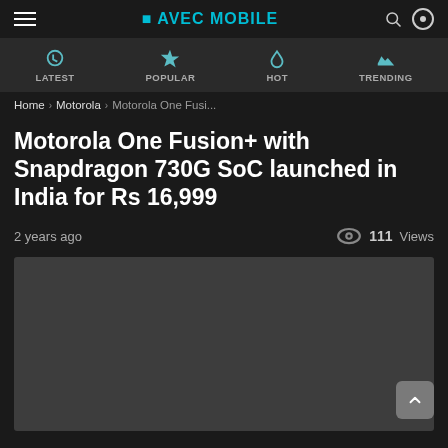AVEC MOBILE — navigation bar with hamburger menu, brand logo, search and theme icons
LATEST | POPULAR | HOT | TRENDING
Home › Motorola › Motorola One Fusi...
Motorola One Fusion+ with Snapdragon 730G SoC launched in India for Rs 16,999
2 years ago
111 Views
[Figure (photo): Article featured image placeholder — dark gray rectangle]